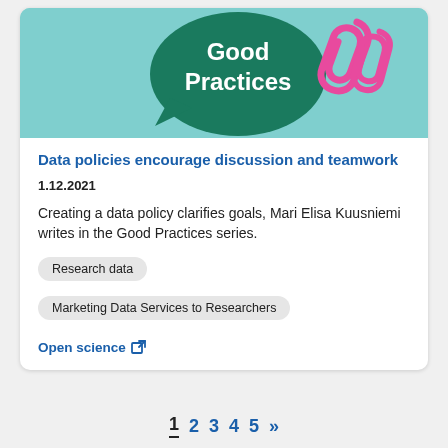[Figure (illustration): Banner with teal background, dark green speech-bubble shape containing 'Good Practices' text in white bold, and pink paper clips on the right]
Data policies encourage discussion and teamwork
1.12.2021
Creating a data policy clarifies goals, Mari Elisa Kuusniemi writes in the Good Practices series.
Research data
Marketing Data Services to Researchers
Open science
1  2  3  4  5  »